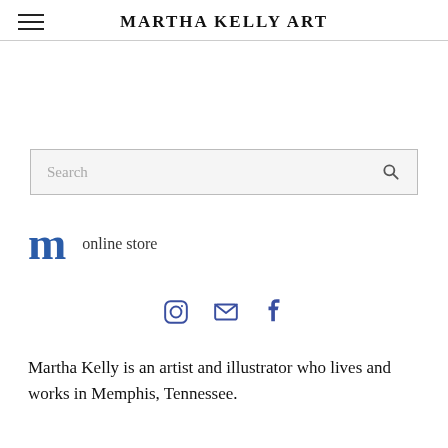MARTHA KELLY ART
[Figure (screenshot): Search input box with placeholder text 'Search' and a magnifying glass icon on the right]
m  online store
[Figure (infographic): Social media icons: Instagram camera icon, email envelope icon, Facebook f icon in blue]
Martha Kelly is an artist and illustrator who lives and works in Memphis, Tennessee.